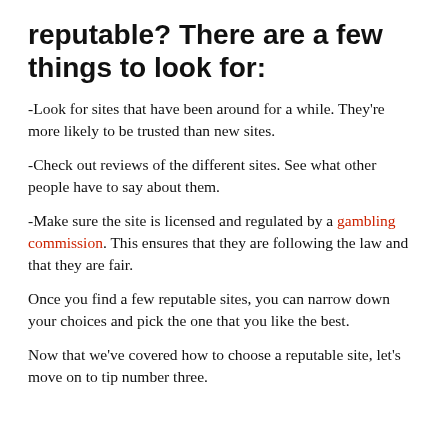reputable? There are a few things to look for:
-Look for sites that have been around for a while. They're more likely to be trusted than new sites.
-Check out reviews of the different sites. See what other people have to say about them.
-Make sure the site is licensed and regulated by a gambling commission. This ensures that they are following the law and that they are fair.
Once you find a few reputable sites, you can narrow down your choices and pick the one that you like the best.
Now that we’ve covered how to choose a reputable site, let’s move on to tip number three.